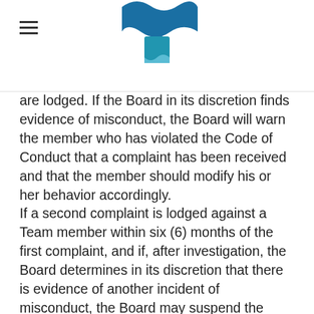[Logo: stylized wave/puzzle piece icon in teal/blue]
are lodged. If the Board in its discretion finds evidence of misconduct, the Board will warn the member who has violated the Code of Conduct that a complaint has been received and that the member should modify his or her behavior accordingly.
If a second complaint is lodged against a Team member within six (6) months of the first complaint, and if, after investigation, the Board determines in its discretion that there is evidence of another incident of misconduct, the Board may suspend the offending member from the Team for six (6) months.
A third complaint of misconduct within six (6) months of the member's return from suspension may result in termination of membership.
Where the Board judges an incident to be